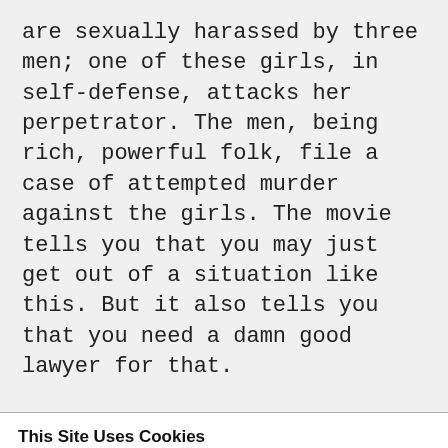are sexually harassed by three men; one of these girls, in self-defense, attacks her perpetrator. The men, being rich, powerful folk, file a case of attempted murder against the girls. The movie tells you that you may just get out of a situation like this. But it also tells you that you need a damn good lawyer for that.
This Site Uses Cookies
This site, like many others, uses small files called cookies to help us improve and customize your experience. Learn more about how we use cookies in our cookie policy.
Learn more about cookies   OK